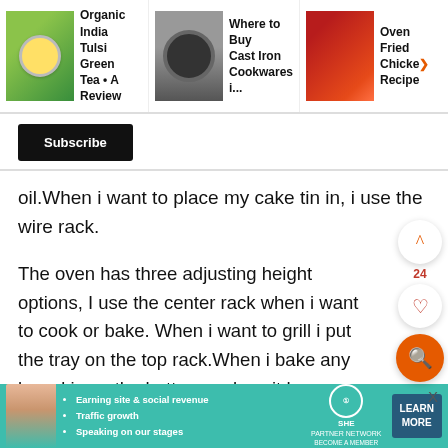Organic India Tulsi Green Tea • A Review | Where to Buy Cast Iron Cookwares i... | Oven Fried Chicke> Recipe
Subscribe
oil.When i want to place my cake tin in, i use the wire rack.
The oven has three adjusting height options, I use the center rack when i want to cook or bake. When i want to grill i put the tray on the top rack.When i bake any bread i use the bottom rack so it has room to rise.
[Figure (screenshot): UI buttons: up arrow, heart (24 likes), and orange search button on right side of page]
X
[Figure (infographic): SHE Partner Network advertisement banner with woman photo, bullet points: Earning site & social revenue, Traffic growth, Speaking on our stages. BECOME A MEMBER. LEARN MORE button.]